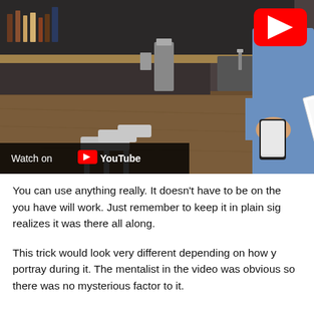[Figure (screenshot): A YouTube video thumbnail/embed showing a person performing a card trick at a restaurant bar counter. Playing cards are spread on the wooden counter surface, and the person is holding a smartphone. Kitchen equipment and condiments are visible in the background. A YouTube play button icon is visible in the top-right corner, and a 'Watch on YouTube' bar appears at the bottom-left.]
You can use anything really. It doesn't have to be on the you have will work. Just remember to keep it in plain sig realizes it was there all along.
This trick would look very different depending on how y portray during it. The mentalist in the video was obvious so there was no mysterious factor to it.